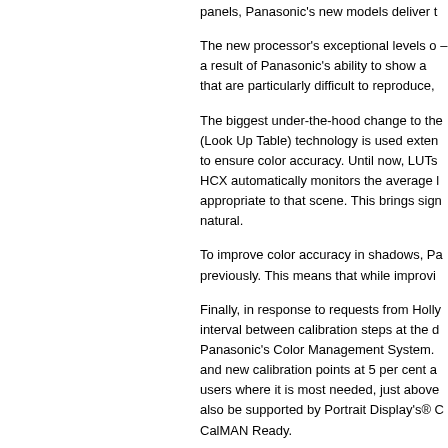panels, Panasonic's new models deliver t
The new processor's exceptional levels o – a result of Panasonic's ability to show a that are particularly difficult to reproduce,
The biggest under-the-hood change to the (Look Up Table) technology is used exten to ensure color accuracy. Until now, LUTs HCX automatically monitors the average l appropriate to that scene. This brings sign natural.
To improve color accuracy in shadows, Pa previously. This means that while improvi
Finally, in response to requests from Holly interval between calibration steps at the d Panasonic's Color Management System. and new calibration points at 5 per cent a users where it is most needed, just above also be supported by Portrait Display's® C CalMAN Ready.
Raising the benchmark for black levels